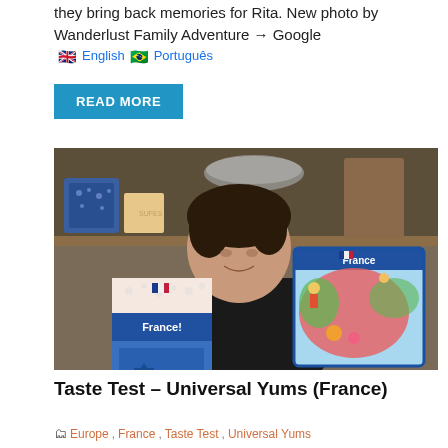they bring back memories for Rita. New photo by Wanderlust Family Adventure → Google
[Figure (other): Language selection bar with UK flag and English link, Brazilian flag and Português link]
READ MORE
[Figure (photo): A young boy smiling and holding up two France-themed items: a booklet/box titled 'France!' with French city illustrations and a blue stripe, and a colorful illustrated map of France. Kitchen background with shelves and boxes visible.]
Taste Test – Universal Yums (France)
Europe , France , Taste Test , Universal Yums